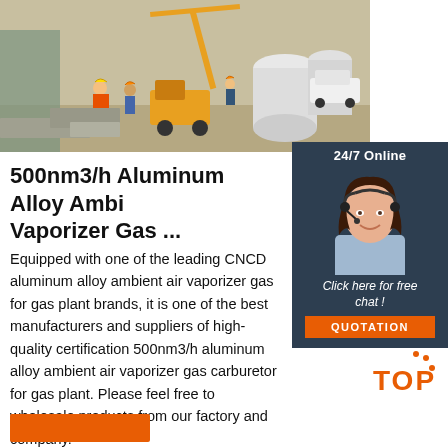[Figure (photo): Construction site photo showing workers in safety gear with a crane and large industrial cylindrical tanks/vaporizers in the background]
[Figure (photo): Sidebar showing a customer service representative with headset, '24/7 Online' label, 'Click here for free chat!' text, and an orange QUOTATION button]
500nm3/h Aluminum Alloy Ambient Air Vaporizer Gas ...
Equipped with one of the leading CNCD aluminum alloy ambient air vaporizer gas for gas plant brands, it is one of the best manufacturers and suppliers of high-quality certification 500nm3/h aluminum alloy ambient air vaporizer gas carburetor for gas plant. Please feel free to wholesale products from our factory and company.
[Figure (other): Orange 'TOP' scroll-to-top button with decorative dots in bottom-right area]
[Figure (other): Orange button at bottom-left of page]